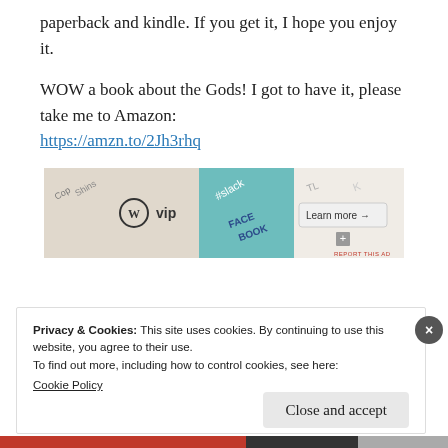paperback and kindle. If you get it, I hope you enjoy it.
WOW a book about the Gods! I got to have it, please take me to Amazon:
https://amzn.to/2Jh3rhq
[Figure (other): WordPress VIP advertisement banner with Slack and Facebook logos and 'Learn more' button]
Privacy & Cookies: This site uses cookies. By continuing to use this website, you agree to their use.
To find out more, including how to control cookies, see here:
Cookie Policy
Close and accept